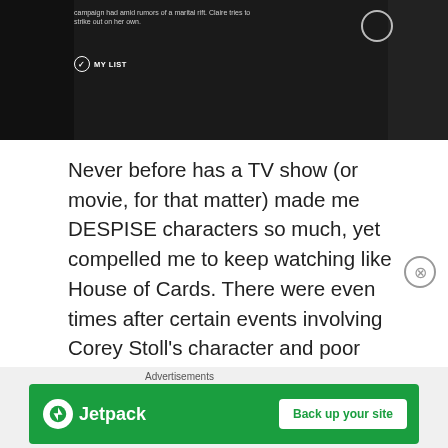[Figure (screenshot): Dark screenshot of a TV show (House of Cards) with a figure in dark clothing, a play button circle overlay, and a MY LIST button with checkmark icon. Small caption text reads: 'campaign had amid rumors of a marital rift. Claire tries to strike out on her own.']
Never before has a TV show (or movie, for that matter) made me DESPISE characters so much, yet compelled me to keep watching like House of Cards. There were even times after certain events involving Corey Stoll's character and poor Rachel, where I had to take a break from watching for a few weeks because I was so gutted. I hated these people for what they did, and couldn't imagine ever caring enough about them to watch the show again. Yet, like a moth to a flame I kept coming back. Hate watching? Maybe. All I know is that Season 4
Advertisements
[Figure (screenshot): Jetpack advertisement banner on green background with Jetpack logo (lightning bolt icon in white circle) and text 'Jetpack' with a white button reading 'Back up your site']